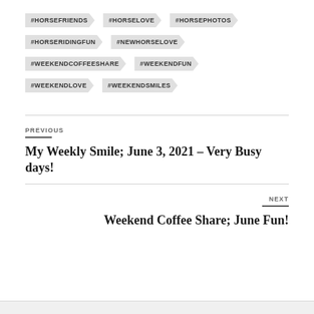#HORSEFRIENDS
#HORSELOVE
#HORSEPHOTOS
#HORSERIDINGFUN
#NEWHORSELOVE
#WEEKENDCOFFEESHARE
#WEEKENDFUN
#WEEKENDLOVE
#WEEKENDSMILES
PREVIOUS
My Weekly Smile; June 3, 2021 – Very Busy days!
NEXT
Weekend Coffee Share; June Fun!